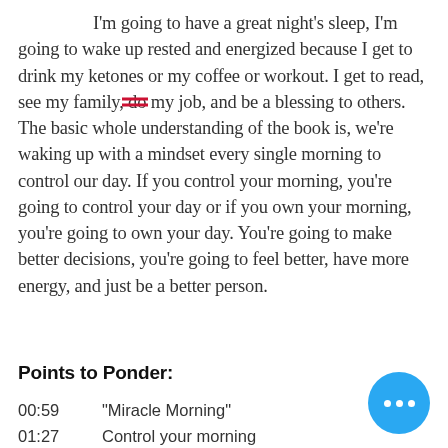I'm going to have a great night's sleep, I'm going to wake up rested and energized because I get to drink my ketones or my coffee or workout. I get to read, see my family, do my job, and be a blessing to others. The basic whole understanding of the book is, we're waking up with a mindset every single morning to control our day. If you control your morning, you're going to control your day or if you own your morning, you're going to own your day. You're going to make better decisions, you're going to feel better, have more energy, and just be a better person.
Points to Ponder:
00:59    "Miracle Morning"
01:27  Control your morning
02:35      I read every day